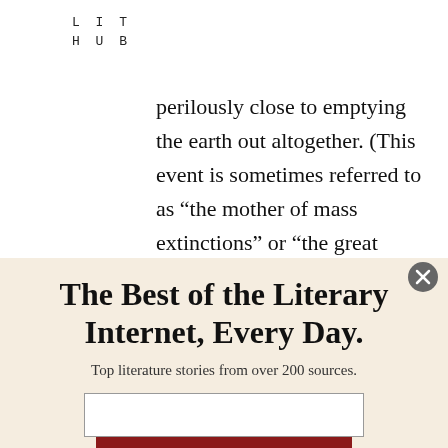LIT
HUB
perilously close to emptying the earth out altogether. (This event is sometimes referred to as “the mother of mass extinctions” or “the great dying.”) The most recent—and famous—mass extinction came at the
The Best of the Literary Internet, Every Day.
Top literature stories from over 200 sources.